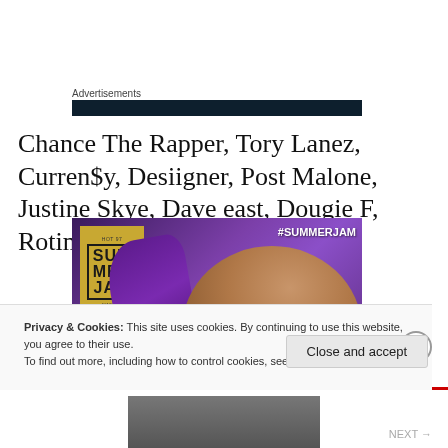Advertisements
Chance The Rapper, Tory Lanez, Curren$y, Desiigner, Post Malone, Justine Skye, Dave east, Dougie F, Rotimi.
[Figure (photo): Summer Jam promotional image featuring a woman with purple hair and the Hot 97 Summer Jam logo]
Privacy & Cookies: This site uses cookies. By continuing to use this website, you agree to their use.
To find out more, including how to control cookies, see here: Cookie Policy
Close and accept